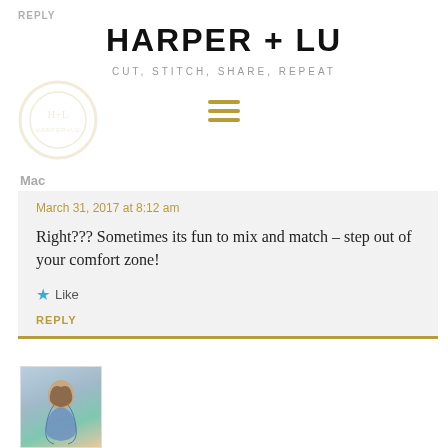REPLY
HARPER + LU
CUT, STITCH, SHARE, REPEAT
[Figure (logo): Harper + Lu logo watermark, circular, faded]
[Figure (other): Hamburger menu icon (three horizontal gold bars)]
Mac
March 31, 2017 at 8:12 am
Right??? Sometimes its fun to mix and match – step out of your comfort zone!
Like
REPLY
[Figure (photo): Small avatar photo of a woman with long dark hair, wearing a patterned top, outdoor background]